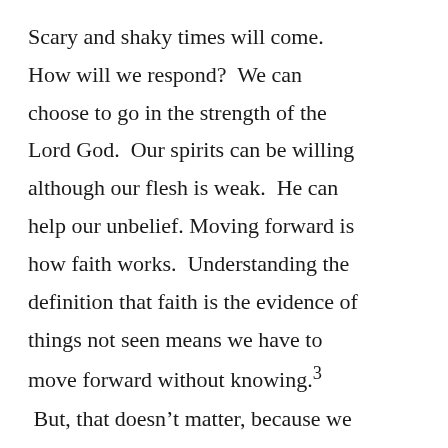Scary and shaky times will come.  How will we respond?  We can choose to go in the strength of the Lord God.  Our spirits can be willing although our flesh is weak.  He can help our unbelief. Moving forward is how faith works.  Understanding the definition that faith is the evidence of things not seen means we have to move forward without knowing.³  But, that doesn't matter, because we know Him, the God of the universe, the One with all power and all knowledge.  We can trust Him.  We can keep being faithful because He is always faithful.  His faithfulness is great, and His mercies are new every morning.⁴  We can keep moving forward after